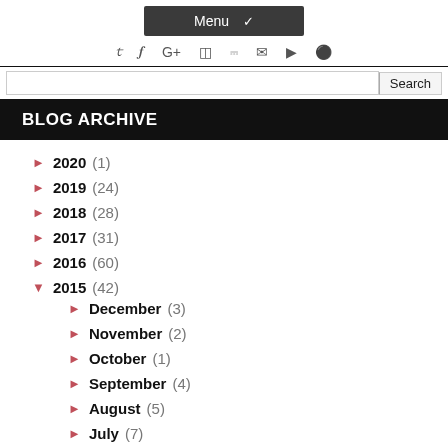Menu
[Figure (screenshot): Social media icons row: Twitter, Facebook, Google+, Instagram, RSS, Email, YouTube, Pinterest]
[Figure (screenshot): Search bar with Search button]
BLOG ARCHIVE
2020 (1)
2019 (24)
2018 (28)
2017 (31)
2016 (60)
2015 (42)
December (3)
November (2)
October (1)
September (4)
August (5)
July (7)